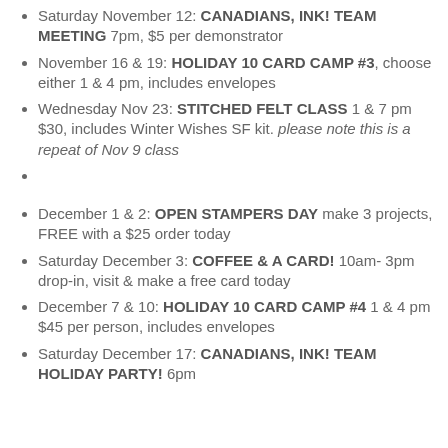Saturday November 12: CANADIANS, INK! TEAM MEETING 7pm, $5 per demonstrator
November 16 & 19: HOLIDAY 10 CARD CAMP #3, choose either 1 & 4 pm, includes envelopes
Wednesday Nov 23: STITCHED FELT CLASS 1 & 7 pm $30, includes Winter Wishes SF kit. please note this is a repeat of Nov 9 class
December 1 & 2: OPEN STAMPERS DAY make 3 projects, FREE with a $25 order today
Saturday December 3: COFFEE & A CARD! 10am- 3pm drop-in, visit & make a free card today
December 7 & 10: HOLIDAY 10 CARD CAMP #4 1 & 4 pm $45 per person, includes envelopes
Saturday December 17: CANADIANS, INK! TEAM HOLIDAY PARTY! 6pm